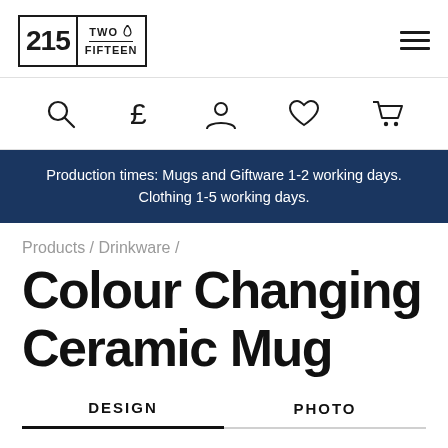215 TWO FIFTEEN logo and hamburger menu
[Figure (other): Navigation icon row: search (magnifier), pound sign, person/account, heart/wishlist, shopping cart]
Production times: Mugs and Giftware 1-2 working days. Clothing 1-5 working days.
Products / Drinkware /
Colour Changing Ceramic Mug
DESIGN    PHOTO